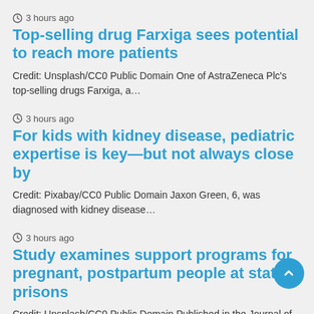3 hours ago
Top-selling drug Farxiga sees potential to reach more patients
Credit: Unsplash/CC0 Public Domain One of AstraZeneca Plc's top-selling drugs Farxiga, a…
3 hours ago
For kids with kidney disease, pediatric expertise is key—but not always close by
Credit: Pixabay/CC0 Public Domain Jaxon Green, 6, was diagnosed with kidney disease…
3 hours ago
Study examines support programs for pregnant, postpartum people at state prisons
Credit: Unsplash/CC0 Public Domain Published in the Journal of Criminal Justice, researchers…